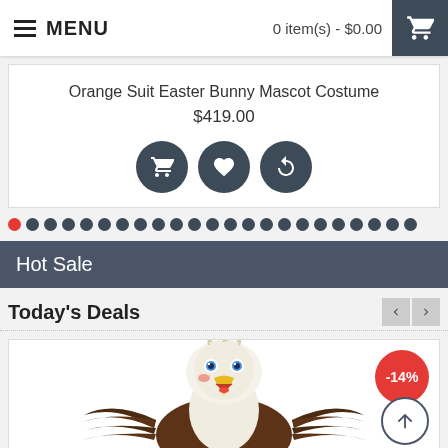MENU   0 item(s) - $0.00
Orange Suit Easter Bunny Mascot Costume
$419.00
[Figure (screenshot): Three dark circular action buttons: shopping cart, heart (wishlist), and refresh/compare icons]
[Figure (other): Carousel pagination dots — one red active dot followed by many dark dots]
Hot Sale
Today's Deals
[Figure (photo): Eagle mascot costume product photo showing a bald eagle character with spread wings, white head feathers, yellow beak, and brown body. A red -14% discount badge appears in the top right corner. A scroll-to-top button is in the bottom right.]